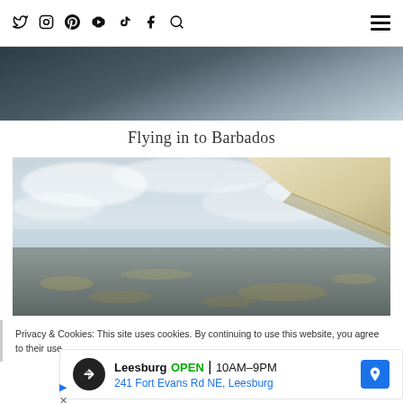Social media icons: Twitter, Instagram, Pinterest, YouTube, TikTok, Facebook, Search | Hamburger menu
[Figure (photo): Partial aerial photo — dark sky gradient with plane wing visible at top of page]
Flying in to Barbados
[Figure (photo): Aerial photograph taken from airplane window showing ocean and land below with cloudy sky and airplane wing visible in upper right corner — approaching Barbados]
Privacy & Cookies: This site uses cookies. By continuing to use this website, you agree to their use.
Leesburg  OPEN | 10AM–9PM  241 Fort Evans Rd NE, Leesburg